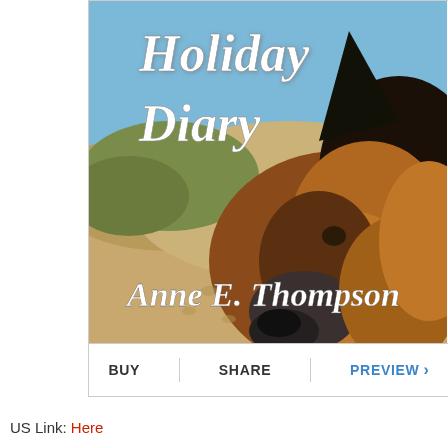[Figure (illustration): Book cover for 'Holiday Diary' by Anne E. Thompson. Shows a German Shepherd dog in profile on a sandy beach, with blue sky and dune grass visible. White cursive text reads 'Holiday Diary' at the top and 'Anne E. Thompson' at the bottom.]
BUY   SHARE   PREVIEW ›
US Link: Here